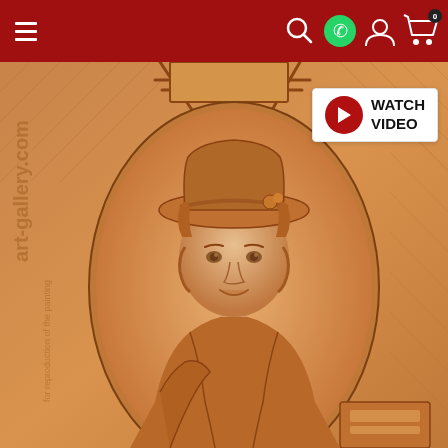Navigation bar with hamburger menu, search, WhatsApp, account, and cart (0) icons on red background
[Figure (illustration): Watch Video button with red circular play icon and text 'WATCH VIDEO' on white background panel]
[Figure (photo): Artwork image from art-gallery.com showing a sanguine/red chalk drawing or engraving of a young artist wearing a broad-brimmed hat, seated at an easel with a canvas, shown in an oval frame. The work has warm orange-brown tones on textured paper. Watermark text 'art-gallery.com' and 'for reproduction of the painting' visible on the left side.]